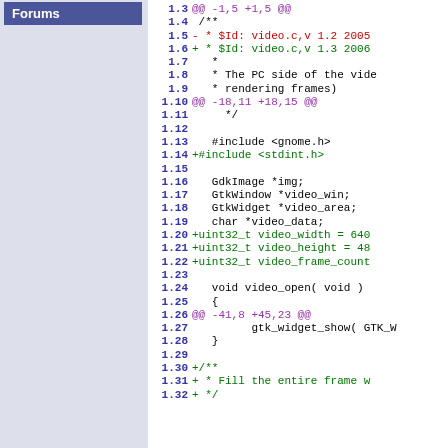Forums
[Figure (screenshot): Code diff view showing changes to video.c with line numbers 1.3 through 1.32, displaying added and removed lines in a source code diff format]